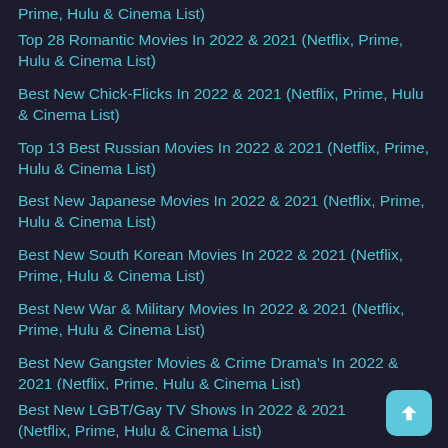Prime, Hulu & Cinema List)
Top 28 Romantic Movies In 2022 & 2021 (Netflix, Prime, Hulu & Cinema List)
Best New Chick-Flicks In 2022 & 2021 (Netflix, Prime, Hulu & Cinema List)
Top 13 Best Russian Movies In 2022 & 2021 (Netflix, Prime, Hulu & Cinema List)
Best New Japanese Movies In 2022 & 2021 (Netflix, Prime, Hulu & Cinema List)
Best New South Korean Movies In 2022 & 2021 (Netflix, Prime, Hulu & Cinema List)
Best New War & Military Movies In 2022 & 2021 (Netflix, Prime, Hulu & Cinema List)
Best New Gangster Movies & Crime Drama's In 2022 & 2021 (Netflix, Prime, Hulu & Cinema List)
Best New LGBT/Gay TV Shows In 2022 & 2021 (Netflix, Prime, Hulu & Cinema List)